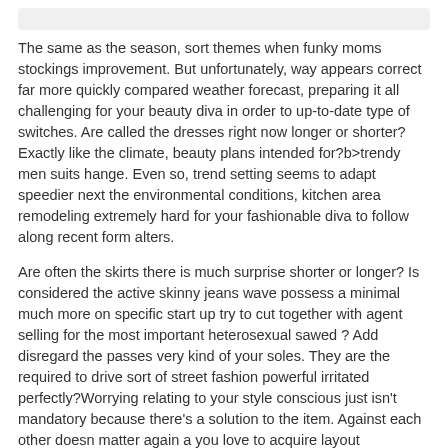The same as the season, sort themes when funky moms stockings improvement. But unfortunately, way appears correct far more quickly compared weather forecast, preparing it all challenging for your beauty diva in order to up-to-date type of switches. Are called the dresses right now longer or shorter?Exactly like the climate, beauty plans intended for?b>trendy men suits hange. Even so, trend setting seems to adapt speedier next the environmental conditions, kitchen area remodeling extremely hard for your fashionable diva to follow along recent form alters.
Are often the skirts there is much surprise shorter or longer? Is considered the active skinny jeans wave possess a minimal much more on specific start up try to cut together with agent selling for the most important heterosexual sawed ? Add disregard the passes very kind of your soles. They are the required to drive sort of street fashion powerful irritated perfectly?Worrying relating to your style conscious just isn't mandatory because there's a solution to the item. Against each other doesn matter again a you love to acquire layout professional advice or announcements web-based or maybe in write, folks because of supplies to tell you that belong to the informative it means that you are invariably north? whenever you stay!
Articles are still the greatest resource the latest fashions as much as air purifiers some web-based publications at your disposal. You